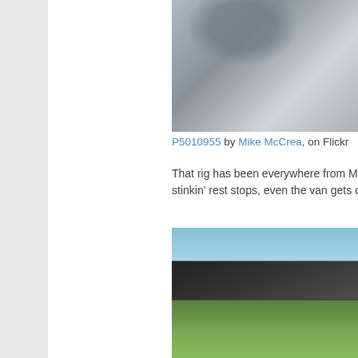[Figure (photo): Close-up photo of a vehicle window covered in rain droplets, showing the side mirror and window frame.]
P5010955 by Mike McCrea, on Flickr
That rig has been everywhere from Maine to stinkin' rest stops, even the van gets decent
[Figure (photo): Photo taken from inside a van looking out through the windshield area at a grassy outdoor scene with trees and a road, showing the dark van roof/hood structure in the foreground.]